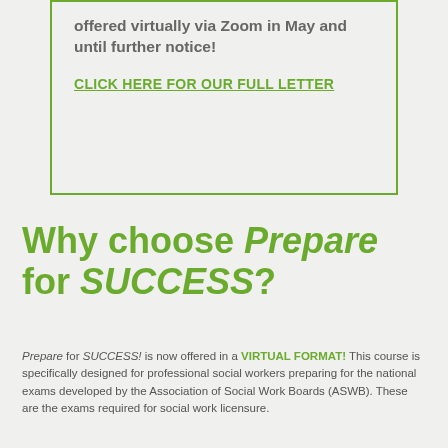offered virtually via Zoom in May and until further notice!
CLICK HERE FOR OUR FULL LETTER
Why choose Prepare for SUCCESS?
Prepare for SUCCESS! is now offered in a VIRTUAL FORMAT! This course is specifically designed for professional social workers preparing for the national exams developed by the Association of Social Work Boards (ASWB). These are the exams required for social work licensure.
The Atlanta Center for Wellness has been offering Prepare for Success since 2018 carrying on the legacy of this valuable program which has been in place since 1999. It has helped hundreds of social workers prepare for the exams and enjoys a